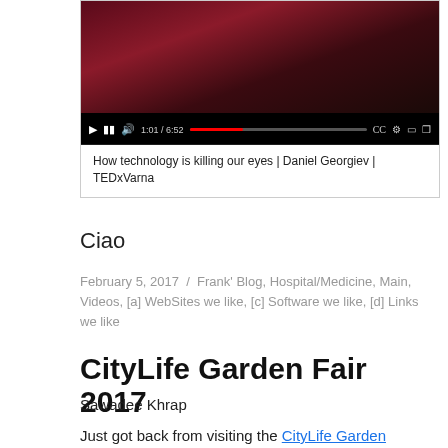[Figure (screenshot): YouTube video player showing a TED talk with red/dark stage background, video controls bar with play button, timestamp 1:01/6:52, and icons for CC, settings, and fullscreen.]
How technology is killing our eyes | Daniel Georgiev | TEDxVarna
Ciao
February 5, 2017 / Frank' Blog, Hospital/Medicine, Main, Videos, [a] WebSites we like, [c] Software we like, [d] Links we like
CityLife Garden Fair 2017
Sawadee Khrap
Just got back from visiting the CityLife Garden Fair...